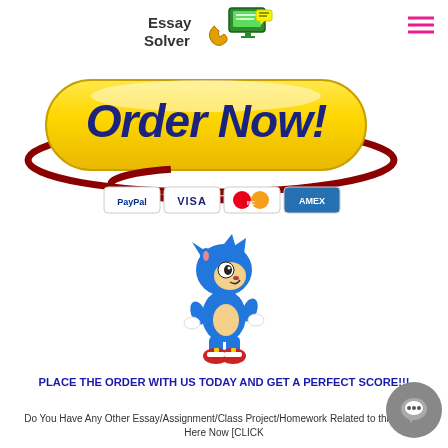[Figure (logo): Essay Solver logo with phone and chat icons]
[Figure (illustration): Order Now! button in yellow with dark red orbit ring, plus payment icons: PayPal, VISA, MasterCard, AMEX]
[Figure (illustration): Sonic the Hedgehog cartoon character illustration]
PLACE THE ORDER WITH US TODAY AND GET A PERFECT SCORE!!!
Do You Have Any Other Essay/Assignment/Class Project/Homework Related to this? Click Here Now [CLICK